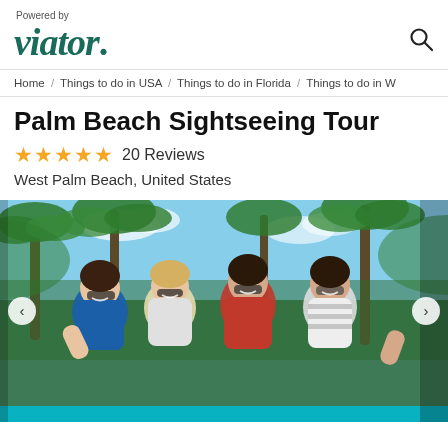Powered by viator.
Home / Things to do in USA / Things to do in Florida / Things to do in W
Palm Beach Sightseeing Tour
★★★★★ 20 Reviews
West Palm Beach, United States
[Figure (photo): Four young women with sunglasses smiling and giving thumbs up at a tropical beach with palm trees in the background.]